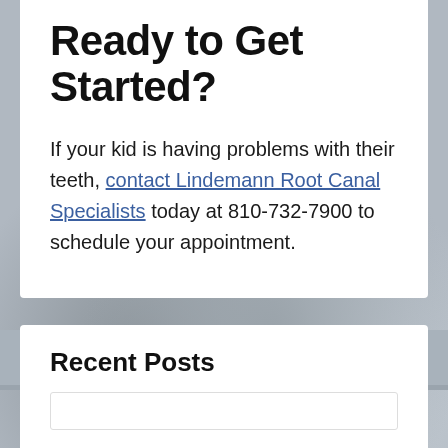Ready to Get Started?
If your kid is having problems with their teeth, contact Lindemann Root Canal Specialists today at 810-732-7900 to schedule your appointment.
[Figure (photo): Blurred beach/sand background with pebbles, greyish-blue tones]
Recent Posts